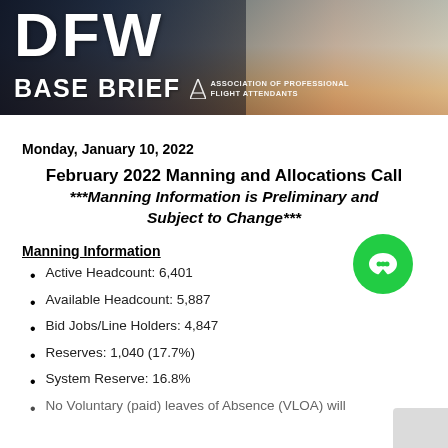[Figure (illustration): DFW Base Brief banner with city skyline background, showing large 'DFW' text, 'BASE BRIEF' subtitle, and APFA (Association of Professional Flight Attendants) logo]
Monday, January 10, 2022
February 2022 Manning and Allocations Call ***Manning Information is Preliminary and Subject to Change***
Manning Information
Active Headcount: 6,401
Available Headcount: 5,887
Bid Jobs/Line Holders: 4,847
Reserves: 1,040 (17.7%)
System Reserve: 16.8%
No Voluntary (paid) leaves of Absence (VLOA) will...